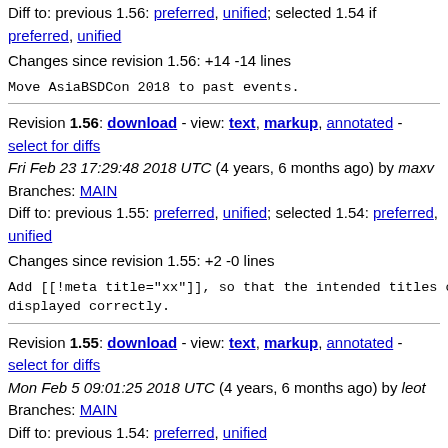Diff to: previous 1.56: preferred, unified; selected 1.54 if preferred, unified
Changes since revision 1.56: +14 -14 lines
Move AsiaBSDCon 2018 to past events.
Revision 1.56: download - view: text, markup, annotated - select for diffs
Fri Feb 23 17:29:48 2018 UTC (4 years, 6 months ago) by maxv
Branches: MAIN
Diff to: previous 1.55: preferred, unified; selected 1.54: preferred, unified
Changes since revision 1.55: +2 -0 lines
Add [[!meta title="xx"]], so that the intended titles of
displayed correctly.
Revision 1.55: download - view: text, markup, annotated - select for diffs
Mon Feb 5 09:01:25 2018 UTC (4 years, 6 months ago) by leot
Branches: MAIN
Diff to: previous 1.54: preferred, unified
Changes since revision 1.54: +10 -10 lines
Move FOSDEM 2018 to past events.
Revision 1.54: download - view: text, markup, annotated